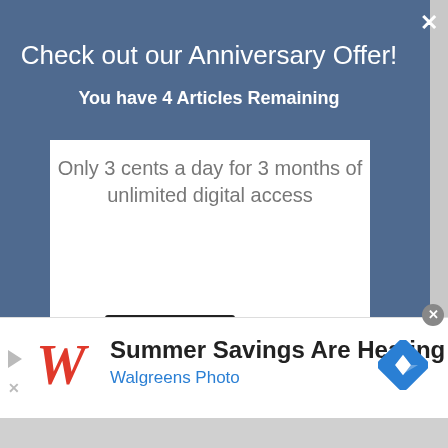Check out our Anniversary Offer!
You have 4 Articles Remaining
Only 3 cents a day for 3 months of unlimited digital access
[Figure (illustration): Multiple devices (laptop, tablet, smartphone, tablet) showing a news website interface]
[Figure (logo): infolinks badge in bottom left corner]
[Figure (screenshot): Advertisement strip: Walgreens Photo ad - Summer Savings Are Heating U, with Walgreens W logo in red italic and a blue navigation diamond icon on the right]